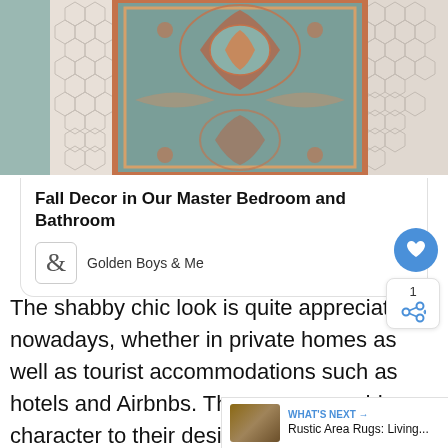[Figure (photo): Photo of a decorative runner rug with floral/medallion pattern in teal, red, and gold tones, laid on hexagonal tile floor in a bathroom hallway]
Fall Decor in Our Master Bedroom and Bathroom
Golden Boys & Me
The shabby chic look is quite appreciated nowadays, whether in private homes as well as tourist accommodations such as hotels and Airbnbs. These spaces add character to their designs by inserting shabby chic furniture in certain areas, and especially in the bathroom.